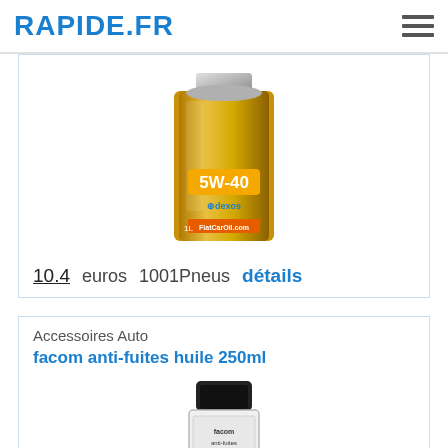RAPIDE.FR
[Figure (photo): Motor oil can product image (5W-40, 1L, gold can with dexos label)]
10.4 euros   1001Pneus   détails
Accessoires Auto
facom anti-fuites huile 250ml
[Figure (photo): Bottle of facom anti-fuites huile 250ml product with black cap]